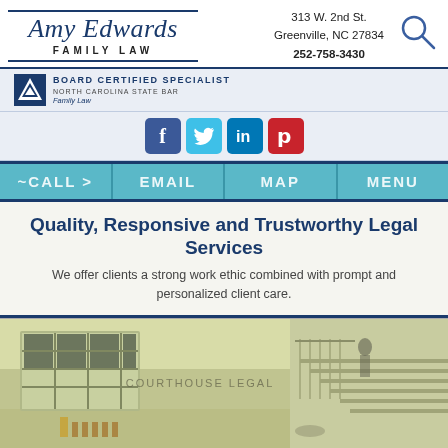[Figure (logo): Amy Edwards Family Law logo with firm name in italic serif font, 'FAMILY LAW' in small caps, horizontal rules above and below]
313 W. 2nd St.
Greenville, NC 27834
252-758-3430
[Figure (logo): Board Certified Specialist - North Carolina State Bar, Family Law badge with triangle logo]
[Figure (illustration): Social media icons: Facebook, Twitter, LinkedIn, Pinterest]
[Figure (infographic): Navigation bar with four teal buttons: CALL, EMAIL, MAP, MENU]
Quality, Responsive and Trustworthy Legal Services
We offer clients a strong work ethic combined with prompt and personalized client care.
[Figure (photo): Interior of a courthouse or legal building with staircase, large windows with grid pattern, light-colored walls, blurred figure walking]